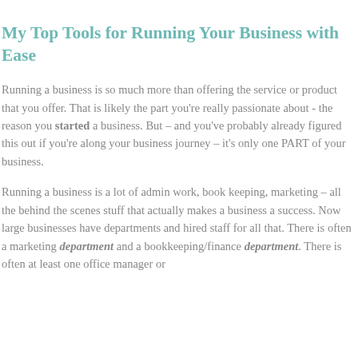My Top Tools for Running Your Business with Ease
Running a business is so much more than offering the service or product that you offer. That is likely the part you're really passionate about - the reason you started a business. But – and you've probably already figured this out if you're along your business journey – it's only one PART of your business.
Running a business is a lot of admin work, book keeping, marketing – all the behind the scenes stuff that actually makes a business a success. Now large businesses have departments and hired staff for all that. There is often a marketing department and a bookkeeping/finance department. There is often at least one office manager or